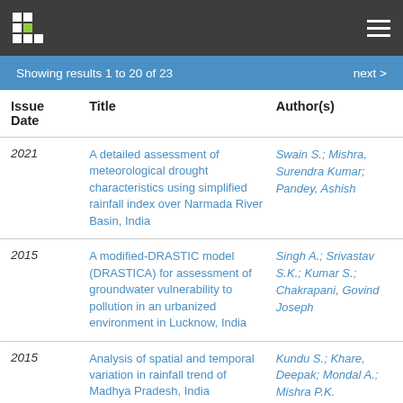Showing results 1 to 20 of 23    next >
| Issue Date | Title | Author(s) |
| --- | --- | --- |
| 2021 | A detailed assessment of meteorological drought characteristics using simplified rainfall index over Narmada River Basin, India | Swain S.; Mishra, Surendra Kumar; Pandey, Ashish |
| 2015 | A modified-DRASTIC model (DRASTICA) for assessment of groundwater vulnerability to pollution in an urbanized environment in Lucknow, India | Singh A.; Srivastav S.K.; Kumar S.; Chakrapani, Govind Joseph |
| 2015 | Analysis of spatial and temporal variation in rainfall trend of Madhya Pradesh, India | Kundu S.; Khare, Deepak; Mondal A.; Mishra P.K. |